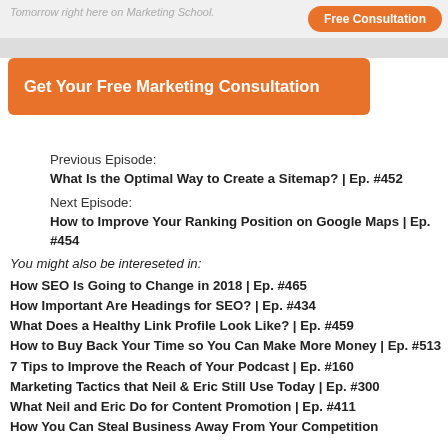Tomorrow right here on Marketing School.
[Figure (other): Free Consultation button (orange pill-shaped)]
[Figure (other): Get Your Free Marketing Consultation orange CTA button]
Previous Episode:
What Is the Optimal Way to Create a Sitemap? | Ep. #452
Next Episode:
How to Improve Your Ranking Position on Google Maps | Ep. #454
You might also be intereseted in:
How SEO Is Going to Change in 2018 | Ep. #465
How Important Are Headings for SEO? | Ep. #434
What Does a Healthy Link Profile Look Like? | Ep. #459
How to Buy Back Your Time so You Can Make More Money | Ep. #513
7 Tips to Improve the Reach of Your Podcast | Ep. #160
Marketing Tactics that Neil & Eric Still Use Today | Ep. #300
What Neil and Eric Do for Content Promotion | Ep. #411
How You Can Steal Business Away From Your Competition